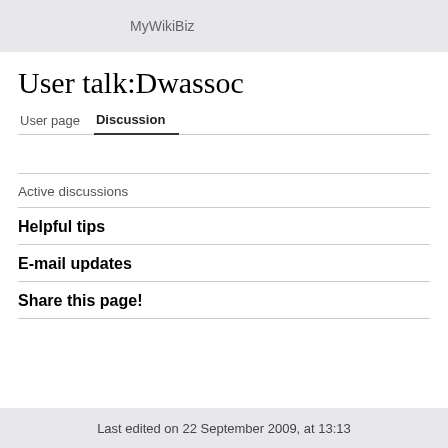MyWikiBiz
User talk:Dwassoc
User page   Discussion
Active discussions
Helpful tips
E-mail updates
Share this page!
Last edited on 22 September 2009, at 13:13